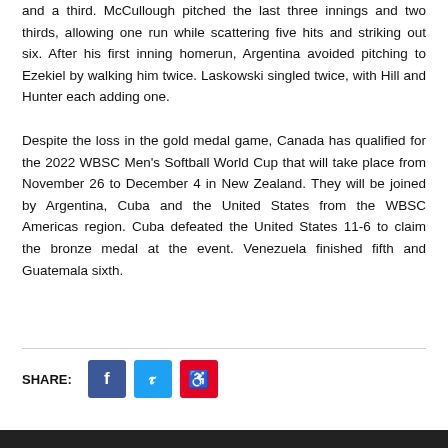and a third. McCullough pitched the last three innings and two thirds, allowing one run while scattering five hits and striking out six. After his first inning homerun, Argentina avoided pitching to Ezekiel by walking him twice. Laskowski singled twice, with Hill and Hunter each adding one.
Despite the loss in the gold medal game, Canada has qualified for the 2022 WBSC Men's Softball World Cup that will take place from November 26 to December 4 in New Zealand. They will be joined by Argentina, Cuba and the United States from the WBSC Americas region. Cuba defeated the United States 11-6 to claim the bronze medal at the event. Venezuela finished fifth and Guatemala sixth.
SHARE: